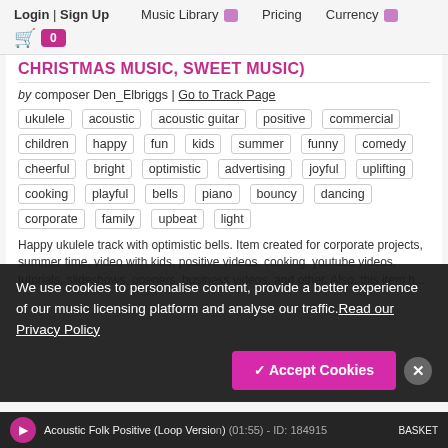Login | Sign Up   Music Library ▣   Pricing   Currency ▣
CHRISTMAS MUSIC, SWEET MUSIC)
by composer Den_Elbriggs | Go to Track Page
ukulele  acoustic  acoustic guitar  positive  commercial  children  happy  fun  kids  summer  funny  comedy  cheerful  bright  optimistic  advertising  joyful  uplifting  cooking  playful  bells  piano  bouncy  dancing  corporate  family  upbeat  light
Happy ukulele track with optimistic bells. Item created for corporate projects, summer time, video with kids, positive videos, cooking, youtube videos, tutorials, slideshows, openers, business videos, and other. Also, this item h...
We use cookies to personalise content, provide a better experience of our music licensing platform and analyse our traffic.Read our Privacy Policy
Acoustic Folk Positive (Loop Version) (01:55) - ID: 184915
✓ Accept Cookies